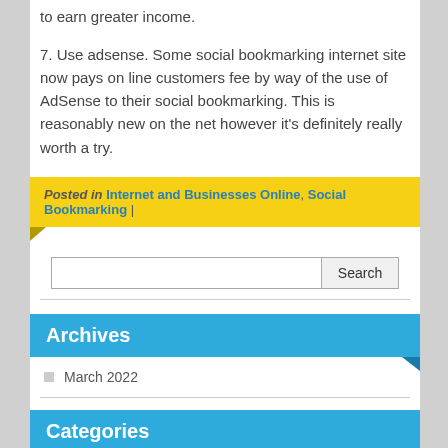to earn greater income.
7. Use adsense. Some social bookmarking internet site now pays on line customers fee by way of the use of AdSense to their social bookmarking. This is reasonably new on the net however it’s definitely really worth a try.
Posted in Internet and Businesses Online, Social Bookmarking |
Archives
March 2022
Categories